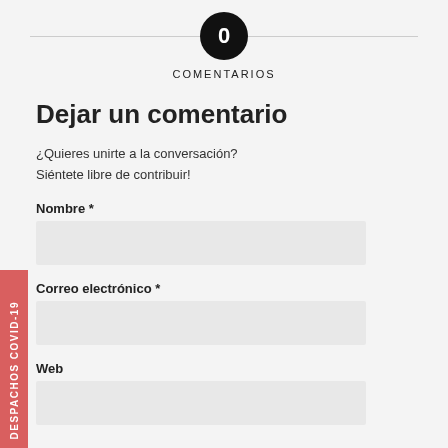0
COMENTARIOS
Dejar un comentario
¿Quieres unirte a la conversación?
Siéntete libre de contribuir!
Nombre *
Correo electrónico *
Web
DESPACHOS COVID-19